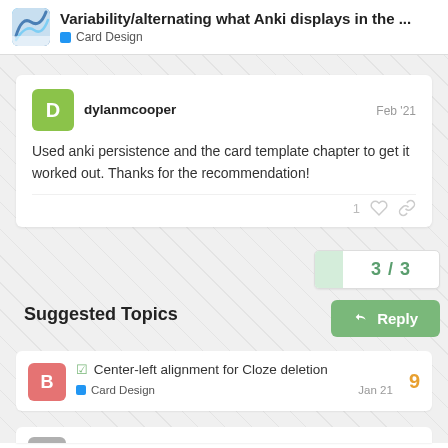Variability/alternating what Anki displays in the ... | Card Design
dylanmcooper  Feb '21
Used anki persistence and the card template chapter to get it worked out. Thanks for the recommendation!
1
3 / 3
Suggested Topics
☑ Center-left alignment for Cloze deletion
Card Design  Jan 21
9
Show siblings related